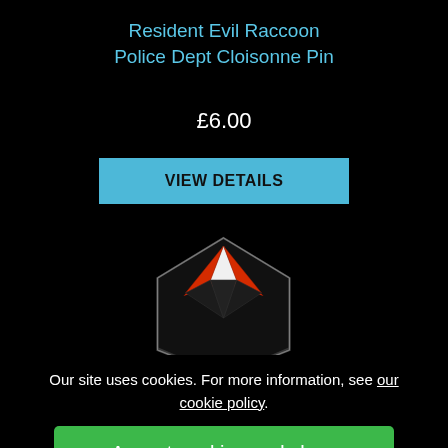Resident Evil Raccoon Police Dept Cloisonne Pin
£6.00
VIEW DETAILS
[Figure (photo): Cloisonne pin shaped like the Umbrella Corporation logo from Resident Evil — a circular black base with red and white triangular segments forming an umbrella symbol, metallic finish.]
Our site uses cookies. For more information, see our cookie policy.
Accept cookies and close
Reject cookies
Manage settings